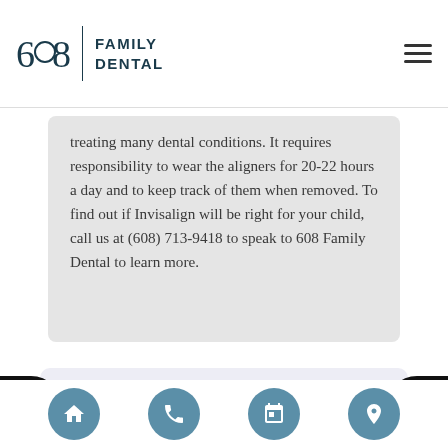608 Family Dental
treating many dental conditions. It requires responsibility to wear the aligners for 20-22 hours a day and to keep track of them when removed. To find out if Invisalign will be right for your child, call us at (608) 713-9418 to speak to 608 Family Dental to learn more.
Quality Dental Services Can